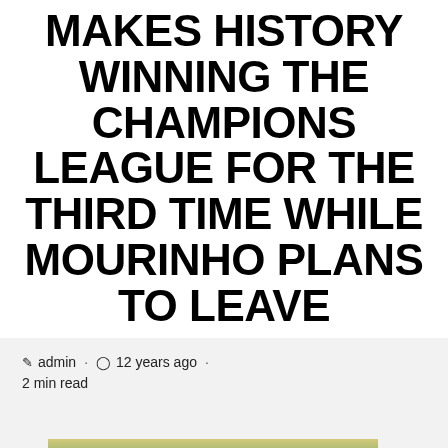MAKES HISTORY WINNING THE CHAMPIONS LEAGUE FOR THE THIRD TIME WHILE MOURINHO PLANS TO LEAVE
admin · 12 years ago · 2 min read
[Figure (photo): Football players celebrating with medals, wearing blue and black Inter Milan jerseys, raising their arms in victory, with a crowd in the background. A red scroll-to-top button with a white chevron is overlaid in the bottom right.]